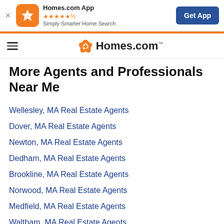[Figure (screenshot): Homes.com App banner with orange app icon, star rating, tagline, and Get App button]
Homes.com
More Agents and Professionals Near Me
Wellesley, MA Real Estate Agents
Dover, MA Real Estate Agents
Newton, MA Real Estate Agents
Dedham, MA Real Estate Agents
Brookline, MA Real Estate Agents
Norwood, MA Real Estate Agents
Medfield, MA Real Estate Agents
Waltham, MA Real Estate Agents